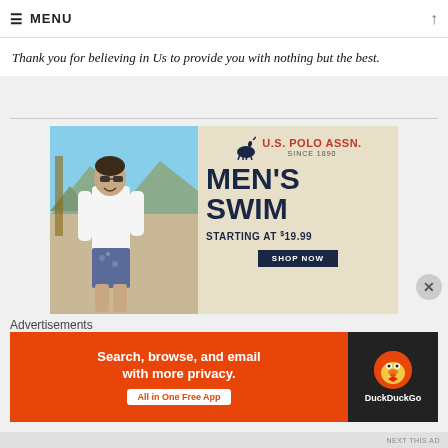MENU
Thank you for believing in Us to provide you with nothing but the best.
[Figure (photo): U.S. Polo Assn. advertisement showing a man in a white shirt and floral swim shorts on a beach, with text: U.S. POLO ASSN. SINCE 1890, MEN'S SWIM, STARTING AT $19.99, SHOP NOW]
Advertisements
[Figure (photo): DuckDuckGo advertisement: Search, browse, and email with more privacy. All in One Free App. DuckDuckGo logo on dark background.]